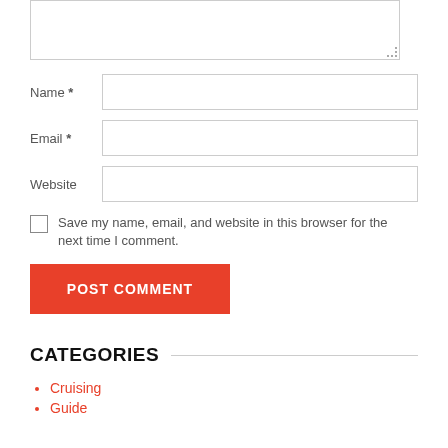[textarea input box]
Name *
Email *
Website
Save my name, email, and website in this browser for the next time I comment.
POST COMMENT
CATEGORIES
Cruising
Guide